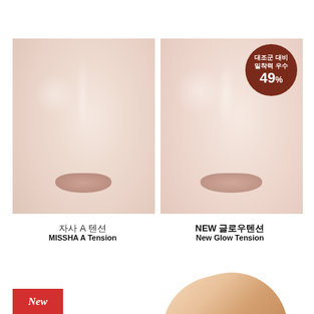[Figure (photo): Two side-by-side close-up photos of a woman's face (lower half, nose to chin) showing skin texture comparison. Left image shows MISSHA A Tension skin finish. Right image shows New Glow Tension skin finish with a dark reddish-brown circular badge in top-right corner reading '대조군 대비 밀착력 우수 49%'.]
자사 A 텐션
MISSHA A Tension
NEW 글로우텐션
New Glow Tension
[Figure (photo): Bottom portion of page showing a product image (cosmetic cushion/puff in beige/skin tone) partially visible on right side, and a red 'New' badge label on the lower left.]